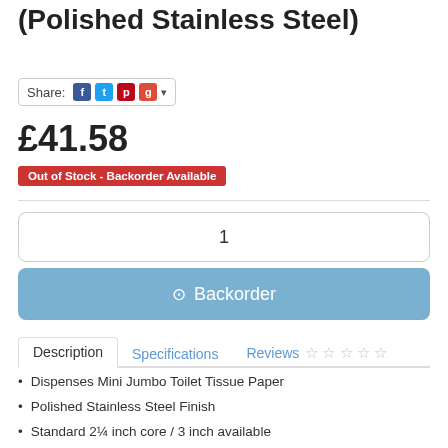(Polished Stainless Steel)
Share:
£41.58
Out of Stock - Backorder Available
1
Backorder
Description | Specifications | Reviews ☆ ☆ ☆ ☆ ☆
Dispenses Mini Jumbo Toilet Tissue Paper
Polished Stainless Steel Finish
Standard 2¼ inch core / 3 inch available